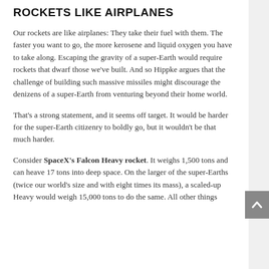ROCKETS LIKE AIRPLANES
Our rockets are like airplanes: They take their fuel with them. The faster you want to go, the more kerosene and liquid oxygen you have to take along. Escaping the gravity of a super-Earth would require rockets that dwarf those we've built. And so Hippke argues that the challenge of building such massive missiles might discourage the denizens of a super-Earth from venturing beyond their home world.
That's a strong statement, and it seems off target. It would be harder for the super-Earth citizenry to boldly go, but it wouldn't be that much harder.
Consider SpaceX's Falcon Heavy rocket. It weighs 1,500 tons and can heave 17 tons into deep space. On the larger of the super-Earths (twice our world's size and with eight times its mass), a scaled-up Heavy would weigh 15,000 tons to do the same. All other things